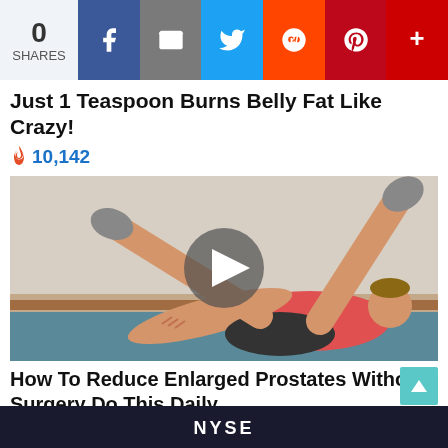0 SHARES | Share buttons: Facebook, Email, Twitter, Reddit, Pinterest, Plus
Just 1 Teaspoon Burns Belly Fat Like Crazy!
🔥 10,142
[Figure (photo): Illustrated man lying on floor doing a leg raise exercise, with a video play button overlay]
How To Reduce Enlarged Prostates Without Surgery Do This Daily
🔥 5,912
[Figure (screenshot): Bottom strip showing NYSE text on dark background]